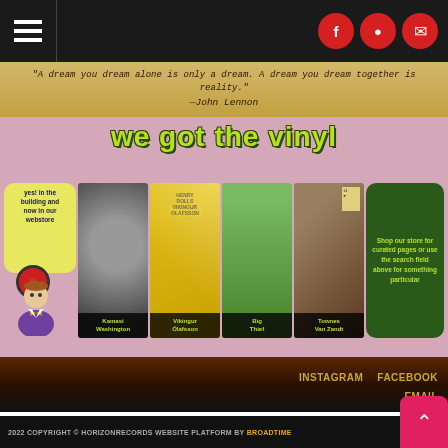Navigation menu and social icons (Facebook, Instagram, Email)
"A dream you dream alone is only a dream. A dream you dream together is reality." —John Lennon
[Figure (illustration): We got the vinyl promotional banner with album covers: Kamasi Washington, Vikingur Olafsson, Big Thief, Townes Van Zandt. Left bubble: 'yes! in the building and now in our webstore'. Right bubble: 'Shop our store for curated pages or use the search field above for something particular']
INSTAGRAM   FACEBOOK
EMAIL
2022 COPYRIGHT © HORIZONRECORDS WEBSITE PLATFORM BY BROADTIME